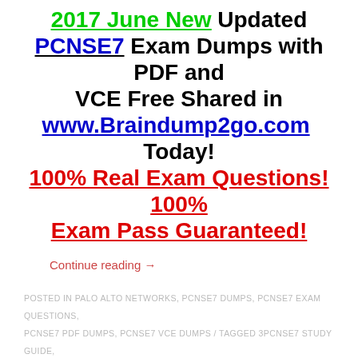2017 June New Updated PCNSE7 Exam Dumps with PDF and VCE Free Shared in www.Braindump2go.com Today! 100% Real Exam Questions! 100% Exam Pass Guaranteed!
Continue reading →
POSTED IN PALO ALTO NETWORKS, PCNSE7 DUMPS, PCNSE7 EXAM QUESTIONS, PCNSE7 PDF DUMPS, PCNSE7 VCE DUMPS / TAGGED 3PCNSE7 STUDY GUIDE, BRAINDUMP2GO PCNSE7, PCNSE7 BRAINDUMPS, PCNSE7 DUMPS, PCNSE7 EXAM QUESTIONS, PCNSE7 PDF, PCNSE7 PRACTICE EXAMS, PCNSE7 PRACTICE TESTS, PCNSE7 VCE /